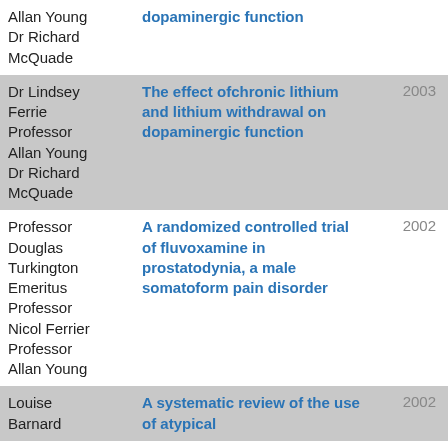| Author | Title | Year |
| --- | --- | --- |
| Allan Young
Dr Richard
McQuade | dopaminergic function |  |
| Dr Lindsey
Ferrie
Professor
Allan Young
Dr Richard
McQuade | The effect ofchronic lithium and lithium withdrawal on dopaminergic function | 2003 |
| Professor
Douglas
Turkington
Emeritus
Professor
Nicol Ferrier
Professor
Allan Young | A randomized controlled trial of fluvoxamine in prostatodynia, a male somatoform pain disorder | 2002 |
| Louise
Barnard | A systematic review of the use of atypical | 2002 |